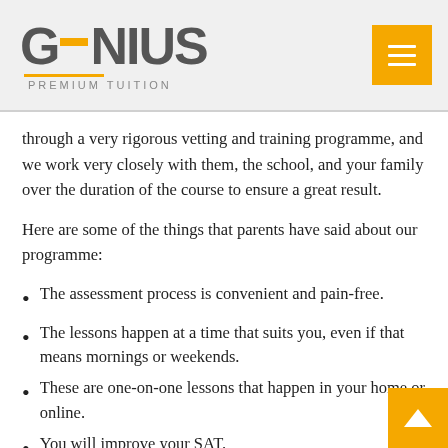[Figure (logo): Genius Premium Tuition logo with yellow accent dash and menu button]
through a very rigorous vetting and training programme, and we work very closely with them, the school, and your family over the duration of the course to ensure a great result.
Here are some of the things that parents have said about our programme:
The assessment process is convenient and pain-free.
The lessons happen at a time that suits you, even if that means mornings or weekends.
These are one-on-one lessons that happen in your home or online.
You will improve your SAT.
You will, therefore, have access to a bigger pool of universities to choose from.
Once your kid gets there, they will be well-positioned to...